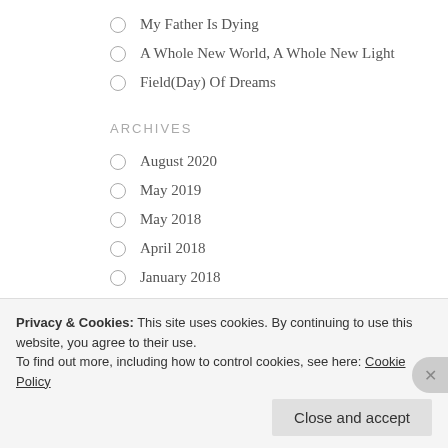My Father Is Dying
A Whole New World, A Whole New Light
Field(Day) Of Dreams
ARCHIVES
August 2020
May 2019
May 2018
April 2018
January 2018
December 2017
November 2017
Privacy & Cookies: This site uses cookies. By continuing to use this website, you agree to their use.
To find out more, including how to control cookies, see here: Cookie Policy
Close and accept